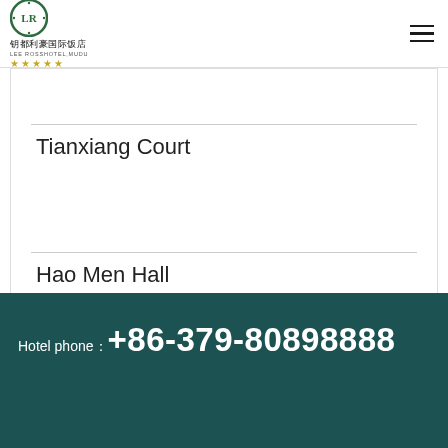[Figure (logo): Lee Ross Hotel Mudu logo with circular emblem, Chinese text 钥都利豪国际饭店, English text LEE ROSSHOTEL,MUDU, and five gold stars]
Tianxiang Court
Hao Men Hall
Hotel phone：+86-379-80898888